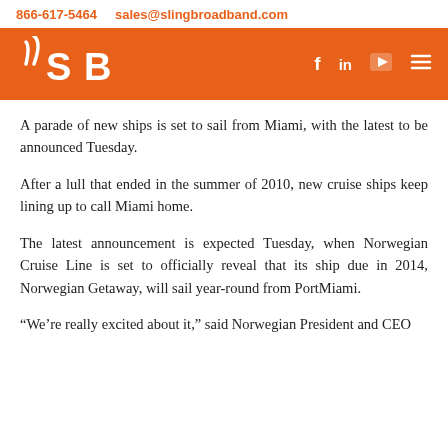866-617-5464   sales@slingbroadband.com
[Figure (logo): Sling Broadband (SB) logo in white on orange background with social media icons (f, in, play button, hamburger menu)]
A parade of new ships is set to sail from Miami, with the latest to be announced Tuesday.
After a lull that ended in the summer of 2010, new cruise ships keep lining up to call Miami home.
The latest announcement is expected Tuesday, when Norwegian Cruise Line is set to officially reveal that its ship due in 2014, Norwegian Getaway, will sail year-round from PortMiami.
“We’re really excited about it,” said Norwegian President and CEO